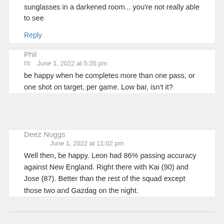sunglasses in a darkened room... you're not really able to see
Reply
Phil
I'll   June 1, 2022 at 5:35 pm
be happy when he completes more than one pass, or one shot on target, per game. Low bar, isn't it?
Deez Nuggs
June 1, 2022 at 11:02 pm
Well then, be happy. Leon had 86% passing accuracy against New England. Right there with Kai (90) and Jose (87). Better than the rest of the squad except those two and Gazdag on the night.